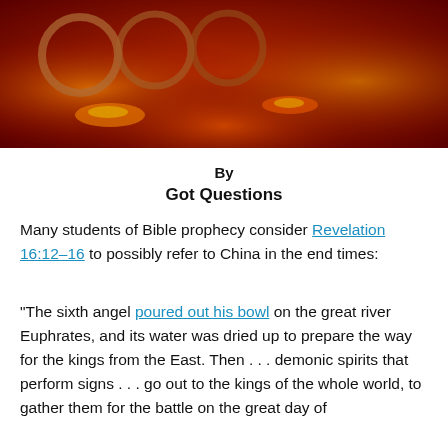[Figure (photo): Dark dramatic image with fiery orange and red tones, appearing to show a dragon or mythological creature with fire and circular/ring shapes, on a dark reddish-brown background]
By
Got Questions
Many students of Bible prophecy consider Revelation 16:12–16 to possibly refer to China in the end times:
“The sixth angel poured out his bowl on the great river Euphrates, and its water was dried up to prepare the way for the kings from the East. Then . . . demonic spirits that perform signs . . . go out to the kings of the whole world, to gather them for the battle on the great day of